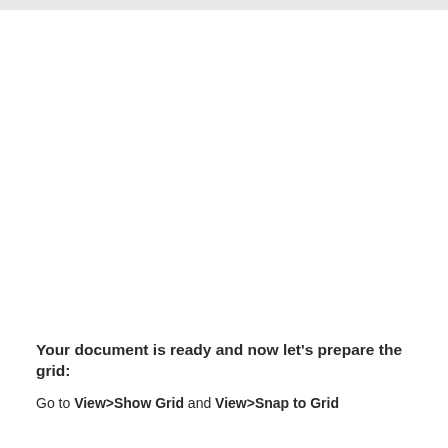Your document is ready and now let's prepare the grid:
Go to View>Show Grid and View>Snap to Grid